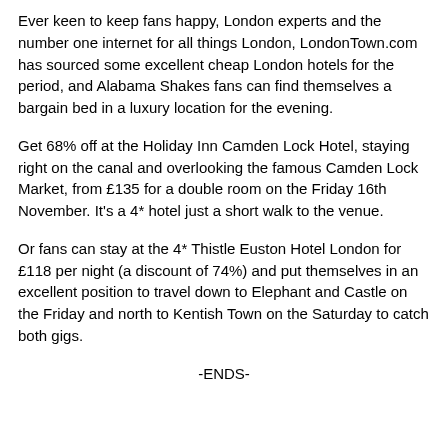Ever keen to keep fans happy, London experts and the number one internet for all things London, LondonTown.com has sourced some excellent cheap London hotels for the period, and Alabama Shakes fans can find themselves a bargain bed in a luxury location for the evening.
Get 68% off at the Holiday Inn Camden Lock Hotel, staying right on the canal and overlooking the famous Camden Lock Market, from £135 for a double room on the Friday 16th November. It's a 4* hotel just a short walk to the venue.
Or fans can stay at the 4* Thistle Euston Hotel London for £118 per night (a discount of 74%) and put themselves in an excellent position to travel down to Elephant and Castle on the Friday and north to Kentish Town on the Saturday to catch both gigs.
-ENDS-